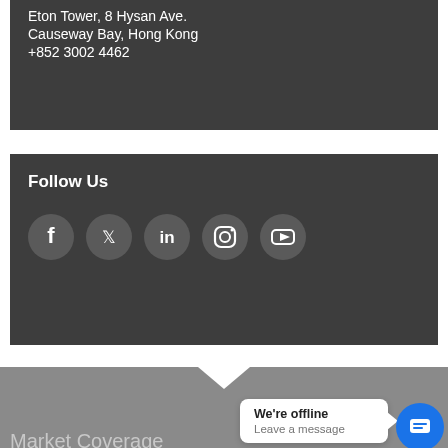Eton Tower, 8 Hysan Ave.
Causeway Bay, Hong Kong
+852 3002 4462
Follow Us
[Figure (infographic): Social media icons: Facebook, Twitter, LinkedIn, Instagram, YouTube — white icons on grey circles]
[Figure (screenshot): Grey section with 'Market Coverage' text partially visible, white downward-pointing triangle, chat popup saying 'We're offline / Leave a message', and blue chat button with message icon]